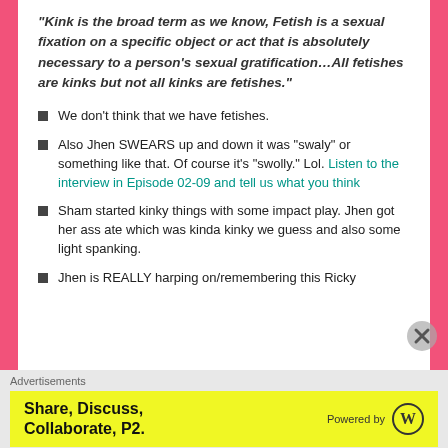“Kink is the broad term as we know, Fetish is a sexual fixation on a specific object or act that is absolutely necessary to a person’s sexual gratification…All fetishes are kinks but not all kinks are fetishes.”
We don’t think that we have fetishes.
Also Jhen SWEARS up and down it was “swaly” or something like that. Of course it’s “swolly.” Lol. Listen to the interview in Episode 02-09 and tell us what you think
Sham started kinky things with some impact play. Jhen got her ass ate which was kinda kinky we guess and also some light spanking.
Jhen is REALLY harping on/remembering this Ricky M...
Advertisements
[Figure (other): Yellow advertisement banner: Share, Discuss, Collaborate, P2. Powered by WordPress logo]